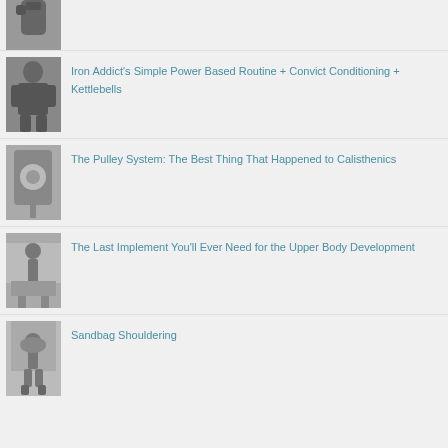[Figure (photo): Black and white photo of person lifting heavy object overhead, partial view cropped at top]
[Figure (photo): Black and white photo of bodybuilder or weightlifter in gym]
Iron Addict's Simple Power Based Routine + Convict Conditioning + Kettlebells
[Figure (photo): Black and white photo of pulley or cable gym equipment]
The Pulley System: The Best Thing That Happened to Calisthenics
[Figure (photo): Black and white photo of person with training implement outdoors]
The Last Implement You'll Ever Need for the Upper Body Development
[Figure (photo): Black and white photo of person shouldering a sandbag outdoors]
Sandbag Shouldering